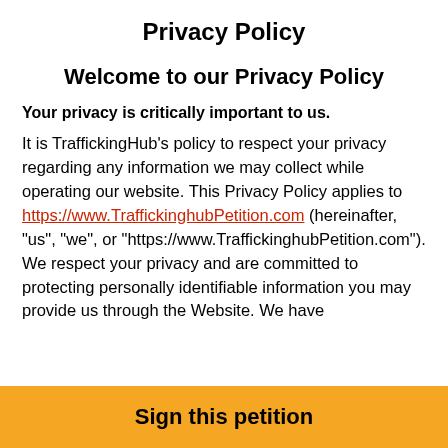Privacy Policy
Welcome to our Privacy Policy
Your privacy is critically important to us.
It is TraffickingHub's policy to respect your privacy regarding any information we may collect while operating our website. This Privacy Policy applies to https://www.TraffickinghubPetition.com (hereinafter, "us", "we", or "https://www.TraffickinghubPetition.com"). We respect your privacy and are committed to protecting personally identifiable information you may provide us through the Website. We have
Sign this petition